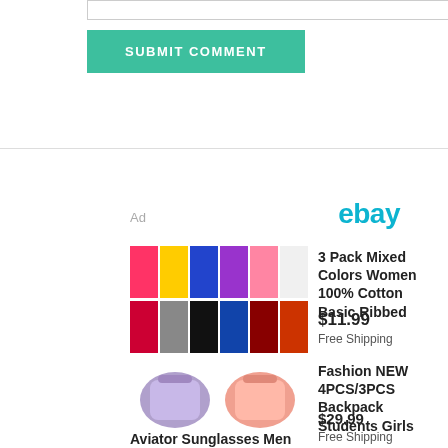[Figure (screenshot): Textarea input box with resize handle in bottom-right corner]
[Figure (screenshot): Submit Comment button - teal/green background with white uppercase text]
Ad
[Figure (logo): eBay logo in teal color]
[Figure (photo): 3 Pack Mixed Colors Women 100% Cotton Basic Ribbed tank tops in multiple colors]
3 Pack Mixed Colors Women 100% Cotton Basic Ribbed
$11.99
Free Shipping
[Figure (photo): Fashion NEW 4PCS/3PCS Backpack Students Girls - purple and pink bags]
Fashion NEW 4PCS/3PCS Backpack Students Girls
$29.99
Free Shipping
Aviator Sunglasses Men